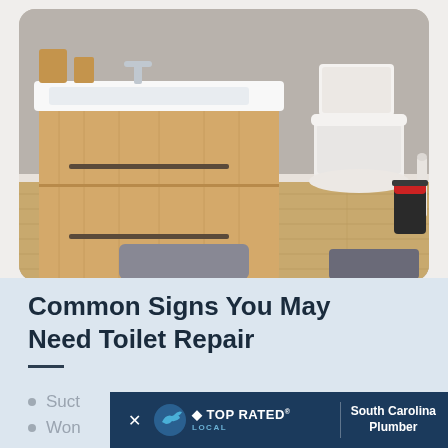[Figure (photo): A modern bathroom with a wooden vanity unit with two drawers, a white sink with faucet and wooden accessories, a white toilet, a toilet brush holder, a black trash can, hardwood floor, and gray bath mats.]
Common Signs You May Need Toilet Repair
Suct...
Won...
[Figure (logo): Top Rated Local banner with close button (×), a blue fish/hand logo, TOP RATED LOCAL text, a divider, and South Carolina Plumber text on dark navy background.]